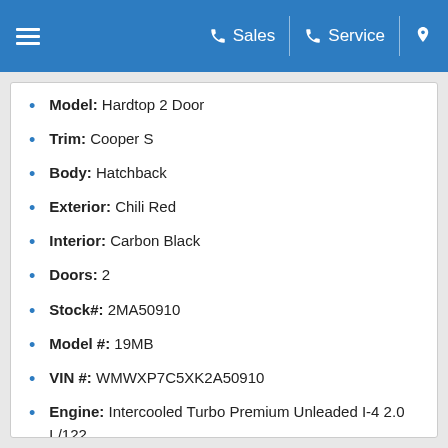Sales | Service
Model: Hardtop 2 Door
Trim: Cooper S
Body: Hatchback
Exterior: Chili Red
Interior: Carbon Black
Doors: 2
Stock#: 2MA50910
Model #: 19MB
VIN #: WMWXP7C5XK2A50910
Engine: Intercooled Turbo Premium Unleaded I-4 2.0 L/122
Transmission: 6-Speed Automatic w/OD
Fuel: Gasoline Fuel
Drive: FWD
MPG*: 23 City / 32 Hwy